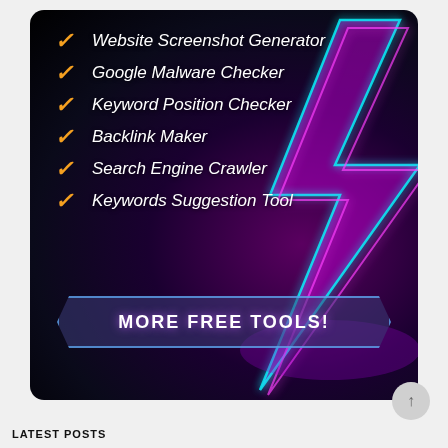[Figure (infographic): Dark neon banner with lightning bolt graphic on right side, checklist of tools on left, and a CTA button at bottom]
Website Screenshot Generator
Google Malware Checker
Keyword Position Checker
Backlink Maker
Search Engine Crawler
Keywords Suggestion Tool
MORE FREE TOOLS!
LATEST POSTS